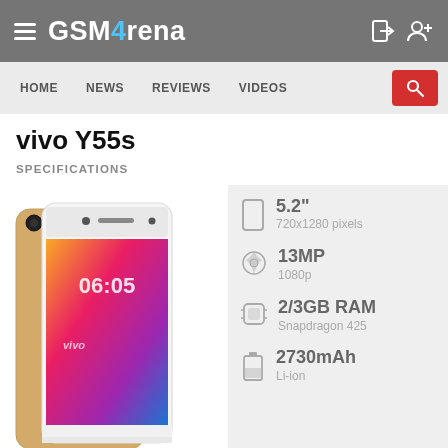GSMArena
vivo Y55s
SPECIFICATIONS
[Figure (photo): Vivo Y55s smartphone shown from the front and back, gold/white color, displaying a colorful wallpaper on screen]
5.2"
720x1280 pixels
13MP
1080p
2/3GB RAM
Snapdragon 425
2730mAh
Li-ion